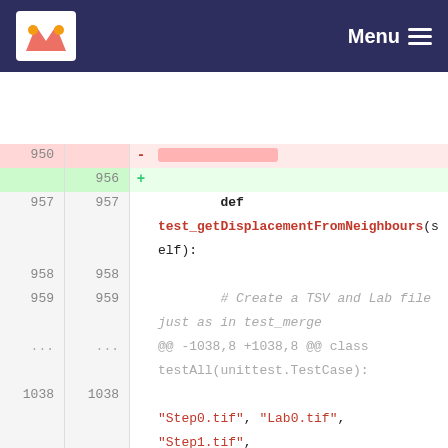Menu
[Figure (screenshot): Code diff view showing Python test file changes. Lines 950-1041+ shown with diff markers. Deleted lines (950, 1041, 1042) shown with red highlighting. Added line 956 and 1041 shown with green highlighting. Context lines show def test_getDisplacementFromNeighbours(self): function definition, a comment about creating TSV and Lab file, hunk header @@ -1038,8 +1038,8 @@ class testAll(unittest.TestCase):, and code lines with Step0.tif, Lab0.tif, Step1.tif strings, -od testFolder+"" call, and self.assertEqual(exitCode, 0).]